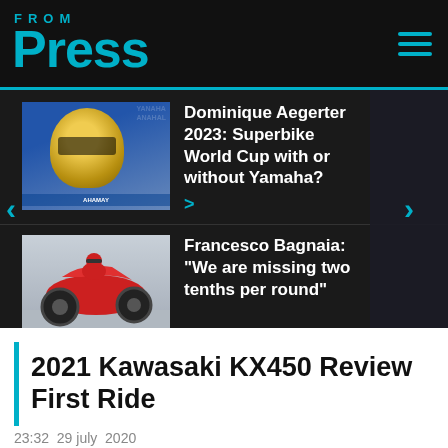FROM Press
[Figure (photo): Motorcycle racer wearing yellow and Yamaha helmet, blue Yamaha background]
Dominique Aegerter 2023: Superbike World Cup with or without Yamaha? >
[Figure (photo): Red race motorcycle on track, rider in red suit leaning into corner]
Francesco Bagnaia: "We are missing two tenths per round"
2021 Kawasaki KX450 Review First Ride
23:32  29 july  2020
Kawasaki was the first manufacturer out of the gate to host a 2021 bike test with its KX450. We joined Team Green at Glen